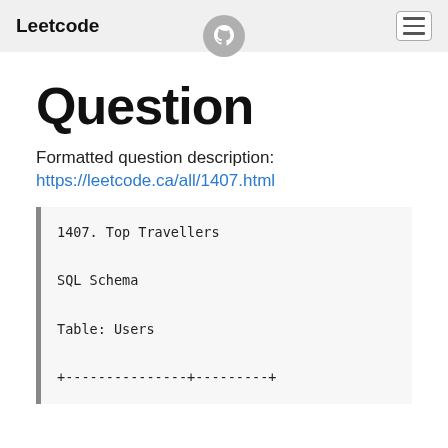Leetcode
Question
Formatted question description:
https://leetcode.ca/all/1407.html
1407. Top Travellers

SQL Schema

Table: Users

+---------------+---------+